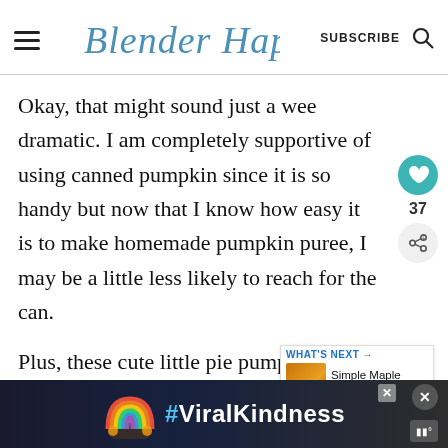Blender Happy — SUBSCRIBE
Okay, that might sound just a wee dramatic. I am completely supportive of using canned pumpkin since it is so handy but now that I know how easy it is to make homemade pumpkin puree, I may be a little less likely to reach for the can.
Plus, these cute little pie pumpkin "sugar" pumpkins are basically calling my
[Figure (screenshot): What's Next widget showing Simple Maple Pumpkin... with thumbnail]
[Figure (infographic): Ad banner with rainbow illustration and #ViralKindness hashtag on dark background]